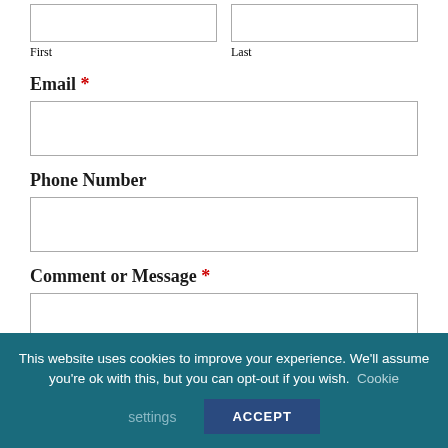First
Last
Email *
Phone Number
Comment or Message *
This website uses cookies to improve your experience. We'll assume you're ok with this, but you can opt-out if you wish. Cookie settings ACCEPT